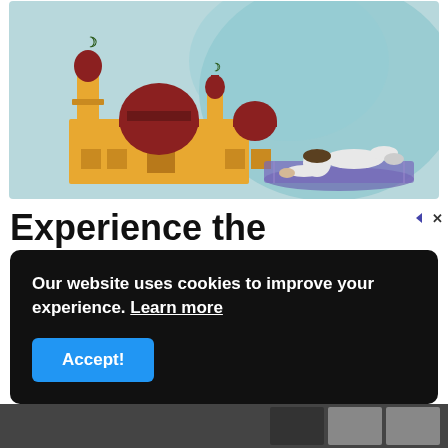[Figure (illustration): Illustration of a mosque with minarets and crescent moons on a teal/blue watercolor background, with a Muslim person praying prostrate on a prayer mat to the right.]
Experience the freedom of ExoWorks™
Our website uses cookies to improve your experience. Learn more
Accept!